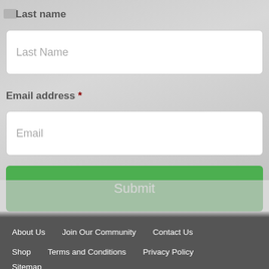Last name
Last Name
Email address *
Email
Submit
About Us   Join Our Community   Contact Us   Shop   Terms and Conditions   Privacy Policy   Sitemap